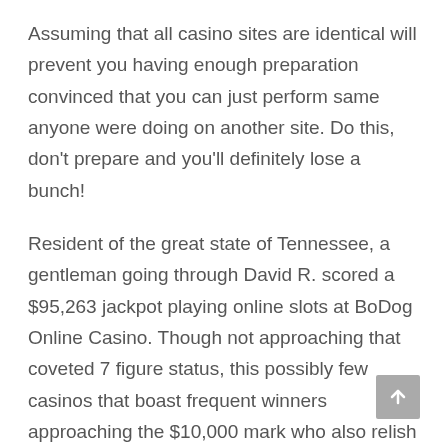Assuming that all casino sites are identical will prevent you having enough preparation convinced that you can just perform same anyone were doing on another site. Do this, don't prepare and you'll definitely lose a bunch!
Resident of the great state of Tennessee, a gentleman going through David R. scored a $95,263 jackpot playing online slots at BoDog Online Casino. Though not approaching that coveted 7 figure status, this possibly few casinos that boast frequent winners approaching the $10,000 mark who also relish American citizenship.